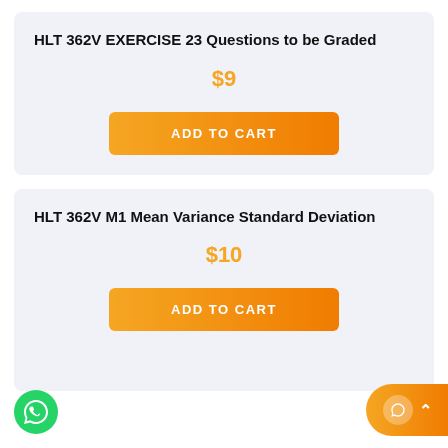HLT 362V EXERCISE 23 Questions to be Graded
$9
ADD TO CART
HLT 362V M1 Mean Variance Standard Deviation
$10
ADD TO CART